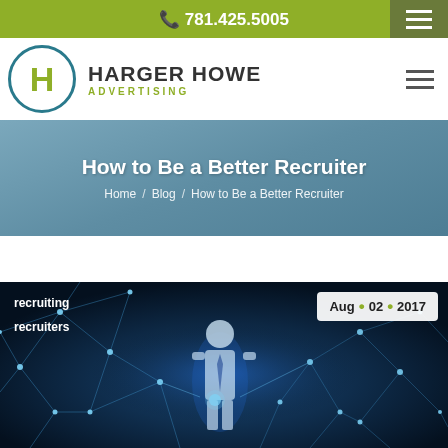📞 781.425.5005
[Figure (logo): Harger Howe Advertising logo — circular H in teal border with company name]
How to Be a Better Recruiter
Home / Blog / How to Be a Better Recruiter
[Figure (photo): Dark blue background with glowing network/polygon lines and a silhouetted person in a suit standing in the center. Tags: 'recruiting' and 'recruiters'. Date badge: Aug • 02 • 2017]